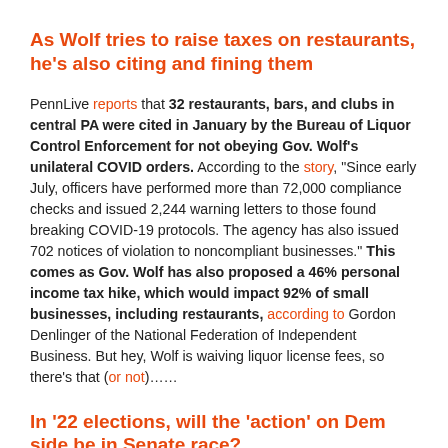As Wolf tries to raise taxes on restaurants, he's also citing and fining them
PennLive reports that 32 restaurants, bars, and clubs in central PA were cited in January by the Bureau of Liquor Control Enforcement for not obeying Gov. Wolf's unilateral COVID orders. According to the story, "Since early July, officers have performed more than 72,000 compliance checks and issued 2,244 warning letters to those found breaking COVID-19 protocols. The agency has also issued 702 notices of violation to noncompliant businesses." This comes as Gov. Wolf has also proposed a 46% personal income tax hike, which would impact 92% of small businesses, including restaurants, according to Gordon Denlinger of the National Federation of Independent Business. But hey, Wolf is waiving liquor license fees, so there's that (or not)......
In '22 elections, will the 'action' on Dem side be in Senate race?